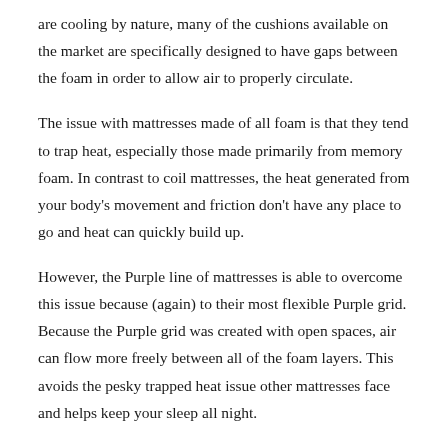are cooling by nature, many of the cushions available on the market are specifically designed to have gaps between the foam in order to allow air to properly circulate.
The issue with mattresses made of all foam is that they tend to trap heat, especially those made primarily from memory foam. In contrast to coil mattresses, the heat generated from your body's movement and friction don't have any place to go and heat can quickly build up.
However, the Purple line of mattresses is able to overcome this issue because (again) to their most flexible Purple grid. Because the Purple grid was created with open spaces, air can flow more freely between all of the foam layers. This avoids the pesky trapped heat issue other mattresses face and helps keep your sleep all night.
Motion Transfer